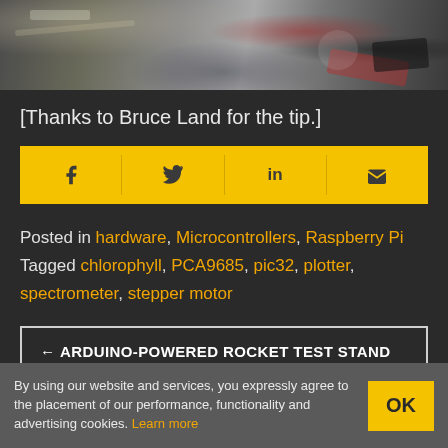[Figure (photo): Photo of electronics hardware including wires and components on a white surface, partially visible at top]
[Thanks to Bruce Land for the tip.]
[Figure (infographic): Social sharing bar with yellow background containing Facebook, Twitter, LinkedIn, and email icons]
Posted in hardware, Microcontrollers, Raspberry Pi
Tagged chlorophyll, PCA9685, pic32, plotter, spectrometer, stepper motor
← ARDUINO-POWERED ROCKET TEST STAND
By using our website and services, you expressly agree to the placement of our performance, functionality and advertising cookies. Learn more